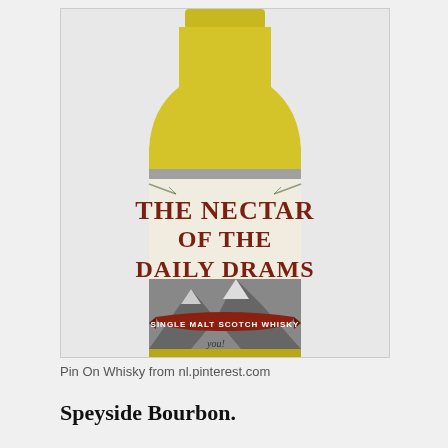[Figure (photo): Photo of a whisky bottle with a label reading 'THE NECTAR OF THE DAILY DRAMS' with a mountain scene and a banner saying 'SINGLE MALT SCOTCH WHISKY'. The bottle is amber/yellow colored at the top.]
Pin On Whisky from nl.pinterest.com
Speyside Bourbon.